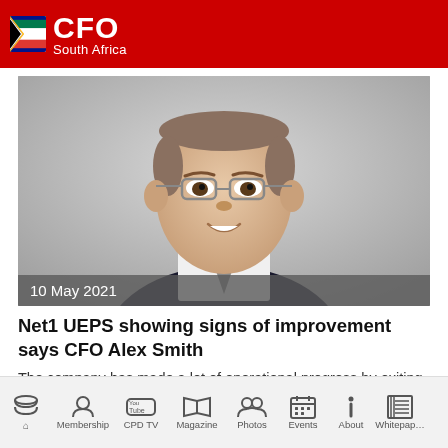CFO South Africa
[Figure (photo): Headshot of a middle-aged man wearing glasses and a dark suit, smiling slightly against a light grey background. Date overlay reads: 10 May 2021]
Net1 UEPS showing signs of improvement says CFO Alex Smith
The company has made a lot of operational progress by exiting its loss-making operations.
Home | Membership | CPD TV | Magazine | Photos | Events | About | Whitepaper